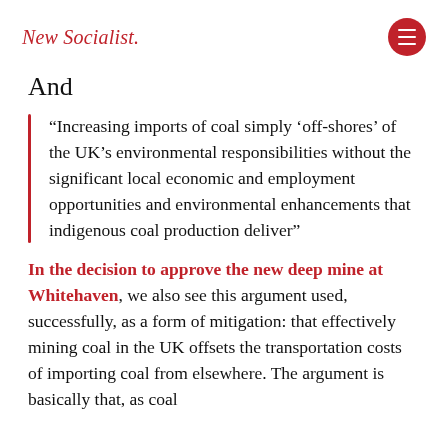New Socialist.
And
“Increasing imports of coal simply ‘off-shores’ of the UK’s environmental responsibilities without the significant local economic and employment opportunities and environmental enhancements that indigenous coal production deliver”
In the decision to approve the new deep mine at Whitehaven, we also see this argument used, successfully, as a form of mitigation: that effectively mining coal in the UK offsets the transportation costs of importing coal from elsewhere. The argument is basically that, as coal